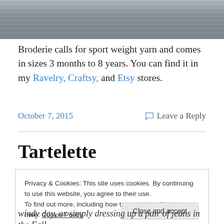[Figure (photo): Cropped photo of a grey knitted fabric/sweater texture, partial view of a hand holding or wearing it]
Broderie calls for sport weight yarn and comes in sizes 3 months to 8 years. You can find it in my Ravelry, Craftsy, and Etsy stores.
October 7, 2015   Leave a Reply
Tartelette
Privacy & Cookies: This site uses cookies. By continuing to use this website, you agree to their use.
To find out more, including how to control cookies, see here: Cookie Policy
windy day, or simply dressing up a pair of jeans in the Fall.